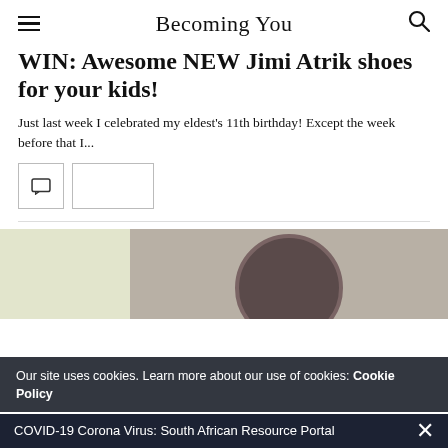Becoming You
WIN: Awesome NEW Jimi Atrik shoes for your kids!
Just last week I celebrated my eldest's 11th birthday! Except the week before that I...
[Figure (other): Comment icon box and empty box for article metadata]
[Figure (photo): Partial photograph showing a shoe sole close-up, split with a light yellowish panel on the left]
Our site uses cookies. Learn more about our use of cookies: Cookie Policy
COVID-19 Corona Virus: South African Resource Portal